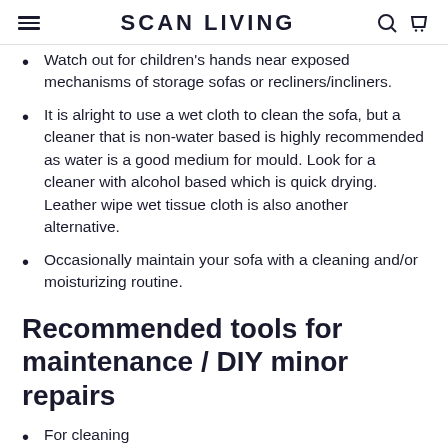SCAN LIVING
Watch out for children's hands near exposed mechanisms of storage sofas or recliners/incliners.
It is alright to use a wet cloth to clean the sofa, but a cleaner that is non-water based is highly recommended as water is a good medium for mould. Look for a cleaner with alcohol based which is quick drying. Leather wipe wet tissue cloth is also another alternative.
Occasionally maintain your sofa with a cleaning and/or moisturizing routine.
Recommended tools for maintenance / DIY minor repairs
For cleaning